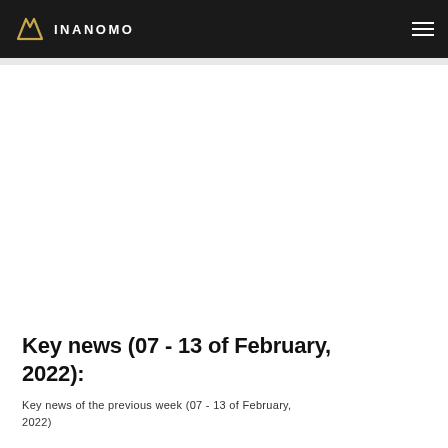INANOMO
Key news (07 - 13 of February, 2022):
Key news of the previous week (07 - 13 of February, 2022)